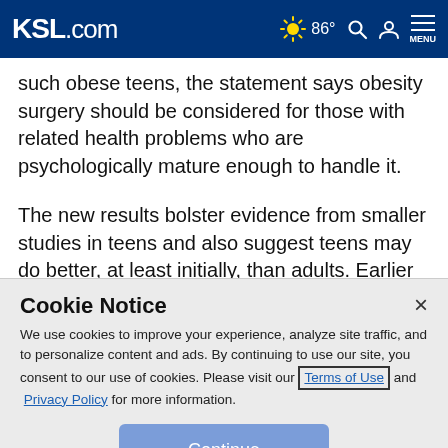KSL.com — 86° [weather/search/profile/menu icons]
such obese teens, the statement says obesity surgery should be considered for those with related health problems who are psychologically mature enough to handle it.
The new results bolster evidence from smaller studies in teens and also suggest teens may do better, at least initially, than adults. Earlier 30-day research in adults found a few deaths after obesity surgery, although the risk was no
Cookie Notice
We use cookies to improve your experience, analyze site traffic, and to personalize content and ads. By continuing to use our site, you consent to our use of cookies. Please visit our Terms of Use and Privacy Policy for more information.
Continue